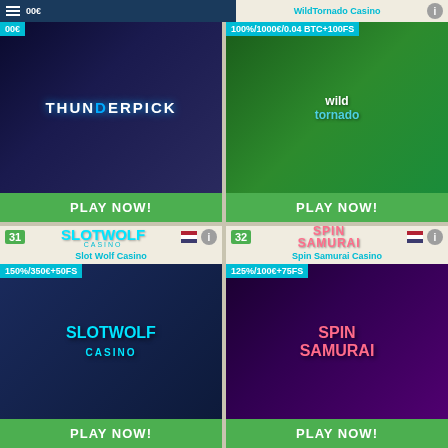[Figure (screenshot): Thunderpick Casino card with dark sports-themed banner image, bonus offer, and green PLAY NOW button]
[Figure (screenshot): Wild Tornado Casino card with green cartoon-themed banner image, bonus 100%/1000€/0.04 BTC+100FS, and green PLAY NOW button]
[Figure (screenshot): Slot Wolf Casino card #31 with wolf-themed banner, bonus 150%/350€+50FS, and green PLAY NOW button]
[Figure (screenshot): Spin Samurai Casino card #32 with samurai-themed purple banner, bonus 125%/100€+75FS, and green PLAY NOW button]